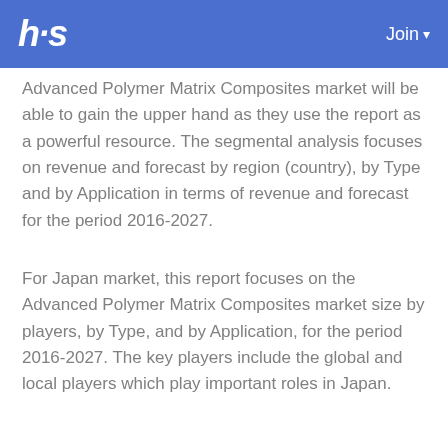hs | Join
Advanced Polymer Matrix Composites market will be able to gain the upper hand as they use the report as a powerful resource. The segmental analysis focuses on revenue and forecast by region (country), by Type and by Application in terms of revenue and forecast for the period 2016-2027.
For Japan market, this report focuses on the Advanced Polymer Matrix Composites market size by players, by Type, and by Application, for the period 2016-2027. The key players include the global and local players which play important roles in Japan.